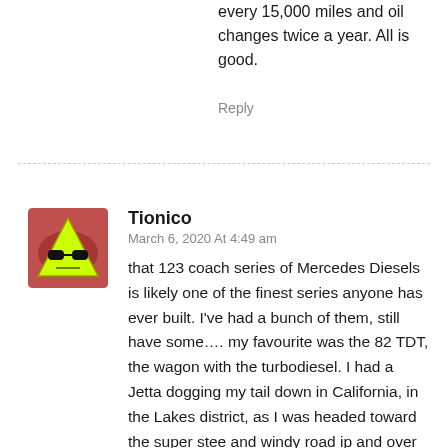every 15,000 miles and oil changes twice a year. All is good.
Reply
[Figure (illustration): User avatar: a cartoon triangle with sunglasses on a reddish background]
Tionico
March 6, 2020 At 4:49 am
that 123 coach series of Mercedes Diesels is likely one of the finest series anyone has ever built. I've had a bunch of them, still have some…. my favourite was the 82 TDT, the wagon with the turbodiesel. I had a Jetta dogging my tail down in California, in the Lakes district, as I was headed toward the super stee and windy road ip and over the Jack Londin grade and down inth Geyserville. On the flats, I was concerned about the Chippies. lurking down one of the ranch driveways. So I lept my speed down, but this guy was pushing. No opportunity to pass me oncoming prevented that